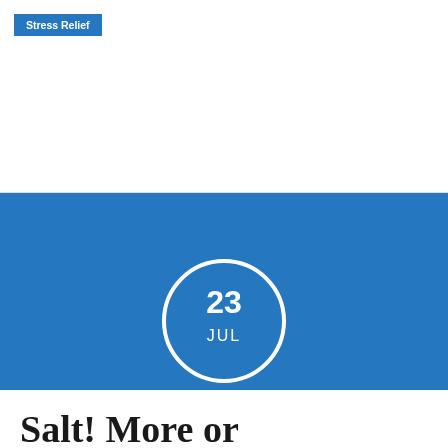Stress Relief
[Figure (other): Blue circular date badge showing '23' on top and 'JUL' below, white circle outline on blue background]
Salt! More or less?